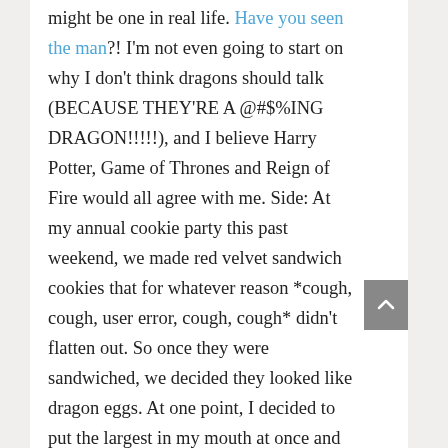might be one in real life. Have you seen the man?! I'm not even going to start on why I don't think dragons should talk (BECAUSE THEY'RE A @#$%ING DRAGON!!!!!), and I believe Harry Potter, Game of Thrones and Reign of Fire would all agree with me. Side: At my annual cookie party this past weekend, we made red velvet sandwich cookies that for whatever reason *cough, cough, user error, cough, cough* didn't flatten out. So once they were sandwiched, we decided they looked like dragon eggs. At one point, I decided to put the largest in my mouth at once and that if I did so, then I would be the Khaleesi. Needless to say, it ended with my hands in the air and me yelling "I AM THE KHALEESI!" I had a bunch of wine, okay? End aside. Anyway, the dragon was cool as shit, especially slithering around in all